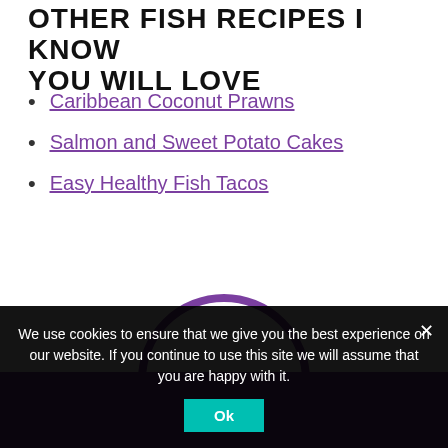OTHER FISH RECIPES I KNOW YOU WILL LOVE
Caribbean Coconut Prawns
Salmon and Sweet Potato Cakes
Easy Healthy Fish Tacos
[Figure (illustration): Partial circle outline in purple above a solid purple rectangular banner]
We use cookies to ensure that we give you the best experience on our website. If you continue to use this site we will assume that you are happy with it.